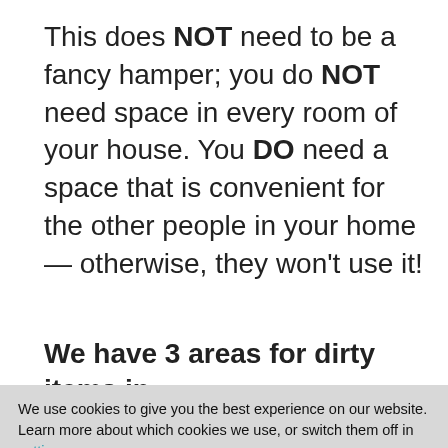This does NOT need to be a fancy hamper; you do NOT need space in every room of your house. You DO need a space that is convenient for the other people in your home — otherwise, they won't use it!
We have 3 areas for dirty items in
We use cookies to give you the best experience on our website.
Learn more about which cookies we use, or switch them off in settings.
Accept
2. a cloth hamper with a removable bag in the kid's bathroom upstairs